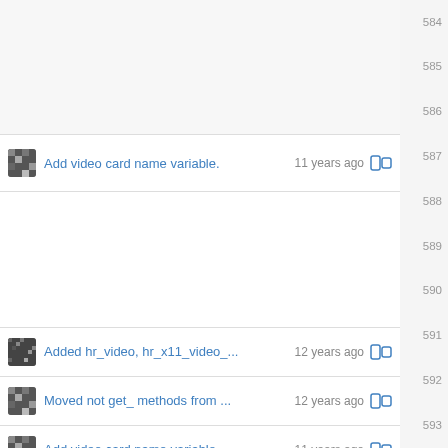584, 585, 586 (empty rows)
Add video card name variable.  11 years ago  [icon] 587
588-598 (empty rows)
Added hr_video, hr_x11_video_...  12 years ago  [icon] 599
Moved not get_ methods from ...  12 years ago  [icon] 600
Add video card name variable.  11 years ago  [icon] 601
Added hr_video, hr_x11_video_...  12 years ago  [icon] 602
603, 604, 605 (empty rows)